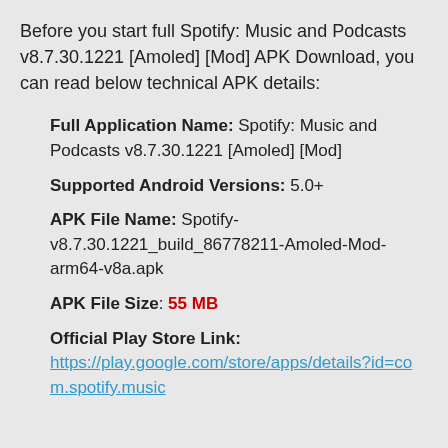Before you start full Spotify: Music and Podcasts v8.7.30.1221 [Amoled] [Mod] APK Download, you can read below technical APK details:
Full Application Name: Spotify: Music and Podcasts v8.7.30.1221 [Amoled] [Mod]
Supported Android Versions: 5.0+
APK File Name: Spotify-v8.7.30.1221_build_86778211-Amoled-Mod-arm64-v8a.apk
APK File Size: 55 MB
Official Play Store Link: https://play.google.com/store/apps/details?id=com.spotify.music